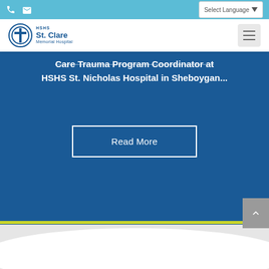HSHS St. Clare Memorial Hospital navigation bar with phone icon, email icon, Select Language dropdown, logo, and hamburger menu
Care Trauma Program Coordinator at HSHS St. Nicholas Hospital in Sheboygan...
Read More